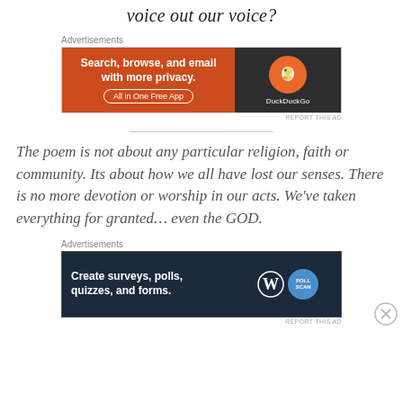voice out our voice?
[Figure (other): DuckDuckGo advertisement banner: 'Search, browse, and email with more privacy. All in One Free App' on orange background with DuckDuckGo logo on dark background]
The poem is not about any particular religion, faith or community. Its about how we all have lost our senses. There is no more devotion or worship in our acts. We’ve taken everything for granted… even the GOD.
[Figure (other): WordPress/poll advertisement banner: 'Create surveys, polls, quizzes, and forms.' on dark navy background with WordPress logo and survey badge]